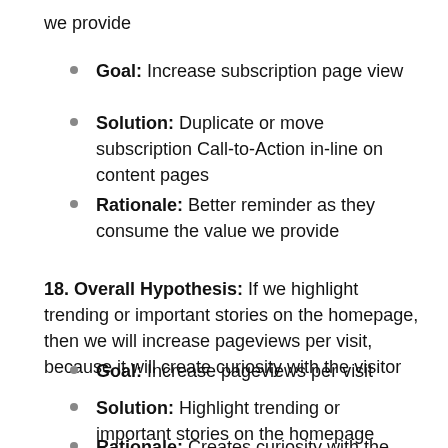we provide
Goal: Increase subscription page view
Solution: Duplicate or move subscription Call-to-Action in-line on content pages
Rationale: Better reminder as they consume the value we provide
18. Overall Hypothesis: If we highlight trending or important stories on the homepage, then we will increase pageviews per visit, because it will create curiosity with the visitor
Goal: Increase pageviews per visit
Solution: Highlight trending or important stories on the homepage
Rationale: Creates curiosity with the visitor